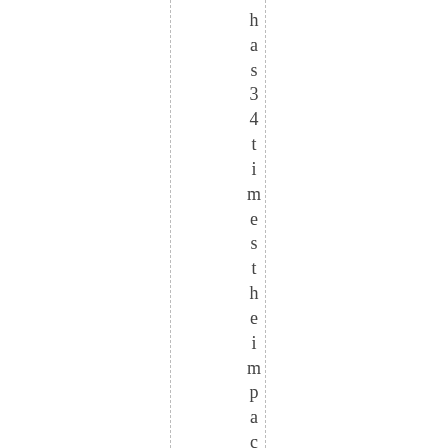has 34 times the impact of CO2(